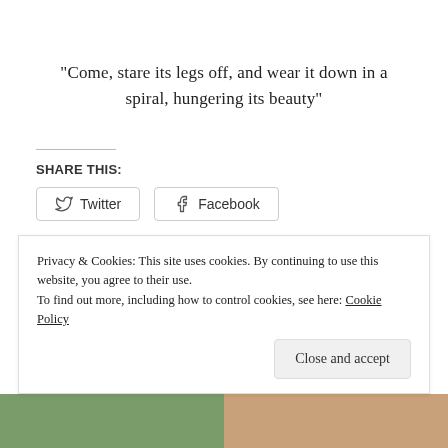“Come, stare its legs off, and wear it down in a spiral, hungering its beauty”
SHARE THIS:
[Figure (other): Twitter and Facebook share buttons]
Loading...
Privacy & Cookies: This site uses cookies. By continuing to use this website, you agree to their use. To find out more, including how to control cookies, see here: Cookie Policy
Close and accept
[Figure (photo): Two partial images at the bottom of the page — left appears to be green foliage, right appears to be a warm-toned image]